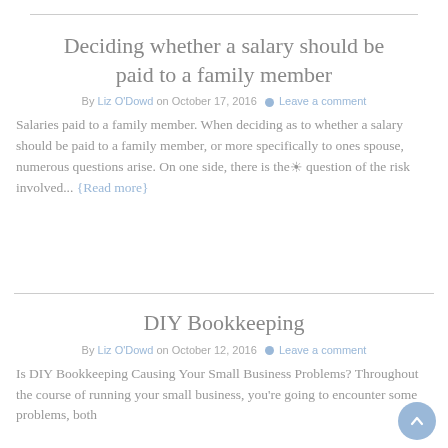Deciding whether a salary should be paid to a family member
By Liz O'Dowd on October 17, 2016 · Leave a comment
Salaries paid to a family member. When deciding as to whether a salary should be paid to a family member, or more specifically to ones spouse, numerous questions arise. On one side, there is the question of the risk involved... {Read more}
DIY Bookkeeping
By Liz O'Dowd on October 12, 2016 · Leave a comment
Is DIY Bookkeeping Causing Your Small Business Problems? Throughout the course of running your small business, you're going to encounter some problems, both